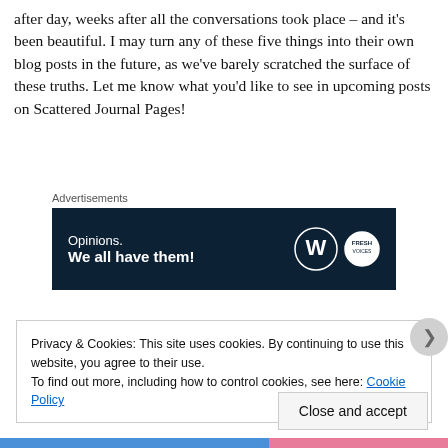after day, weeks after all the conversations took place – and it's been beautiful. I may turn any of these five things into their own blog posts in the future, as we've barely scratched the surface of these truths. Let me know what you'd like to see in upcoming posts on Scattered Journal Pages!
Advertisements
[Figure (other): Advertisement banner with dark navy background. Left side reads: 'Opinions. We all have them!' in white text. Right side shows WordPress logo and Fresh Voices logo.]
Privacy & Cookies: This site uses cookies. By continuing to use this website, you agree to their use.
To find out more, including how to control cookies, see here: Cookie Policy
Close and accept